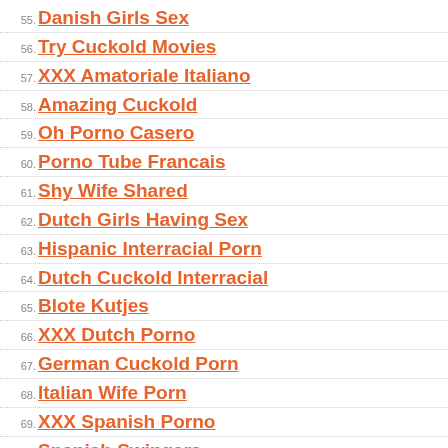55. Danish Girls Sex
56. Try Cuckold Movies
57. XXX Amatoriale Italiano
58. Amazing Cuckold
59. Oh Porno Casero
60. Porno Tube Francais
61. Shy Wife Shared
62. Dutch Girls Having Sex
63. Hispanic Interracial Porn
64. Dutch Cuckold Interracial
65. Blote Kutjes
66. XXX Dutch Porno
67. German Cuckold Porn
68. Italian Wife Porn
69. XXX Spanish Porno
70. Spanish Swingers